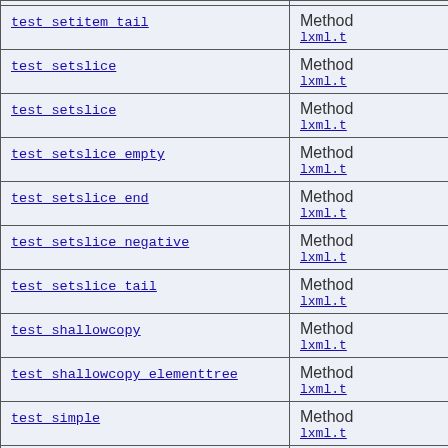| Method | Description |
| --- | --- |
| test setitem tail | Method of lxml.t |
| test setslice | Method of lxml.t |
| test setslice | Method of lxml.t |
| test setslice empty | Method of lxml.t |
| test setslice end | Method of lxml.t |
| test setslice negative | Method of lxml.t |
| test setslice tail | Method of lxml.t |
| test shallowcopy | Method of lxml.t |
| test shallowcopy elementtree | Method of lxml.t |
| test simple | Method of lxml.t |
| test sourceline element | Method of ... |